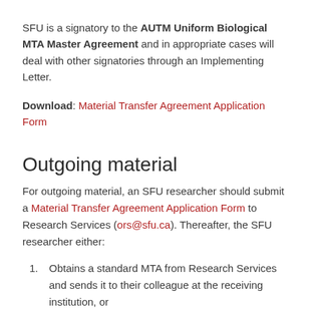SFU is a signatory to the AUTM Uniform Biological MTA Master Agreement and in appropriate cases will deal with other signatories through an Implementing Letter.
Download: Material Transfer Agreement Application Form
Outgoing material
For outgoing material, an SFU researcher should submit a Material Transfer Agreement Application Form to Research Services (ors@sfu.ca). Thereafter, the SFU researcher either:
Obtains a standard MTA from Research Services and sends it to their colleague at the receiving institution, or